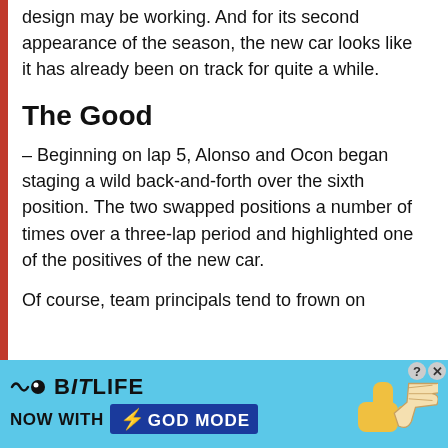design may be working. And for its second appearance of the season, the new car looks like it has already been on track for quite a while.
The Good
– Beginning on lap 5, Alonso and Ocon began staging a wild back-and-forth over the sixth position. The two swapped positions a number of times over a three-lap period and highlighted one of the positives of the new car.
Of course, team principals tend to frown on
[Figure (screenshot): BitLife advertisement banner: 'BitLife - Now with GOD MODE' with thumbs up graphic on light blue background]